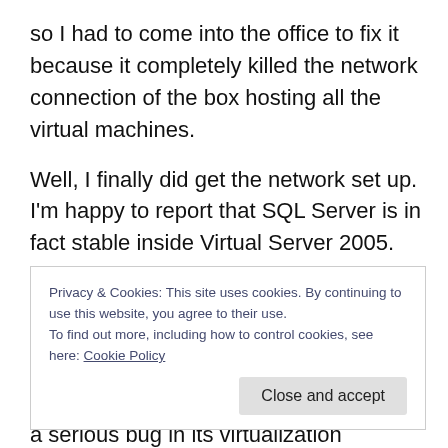so I had to come into the office to fix it because it completely killed the network connection of the box hosting all the virtual machines.
Well, I finally did get the network set up. I'm happy to report that SQL Server is in fact stable inside Virtual Server 2005. On the one hand, I'm relieved I have something I can actually trust to work correctly in terms of getting my current work done. On the other hand, I'm greatly disturbed that VMWare has such a serious bug in its virtualization product. I plan on using virtualization
Privacy & Cookies: This site uses cookies. By continuing to use this website, you agree to their use.
To find out more, including how to control cookies, see here: Cookie Policy